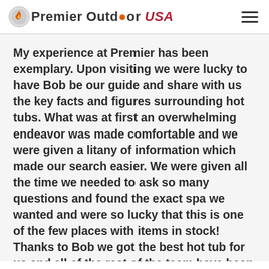Premier Outdoor USA
My experience at Premier has been exemplary. Upon visiting we were lucky to have Bob be our guide and share with us the key facts and figures surrounding hot tubs. What was at first an overwhelming endeavor was made comfortable and we were given a litany of information which made our search easier. We were given all the time we needed to ask so many questions and found the exact spa we wanted and were so lucky that this is one of the few places with items in stock! Thanks to Bob we got the best hot tub for us and all of the rest of the team have been just great. Can't say enough great things! We saw, bought and are taking delivery of our spa within weeks of initially visiting. Thank you Premier and Bob for